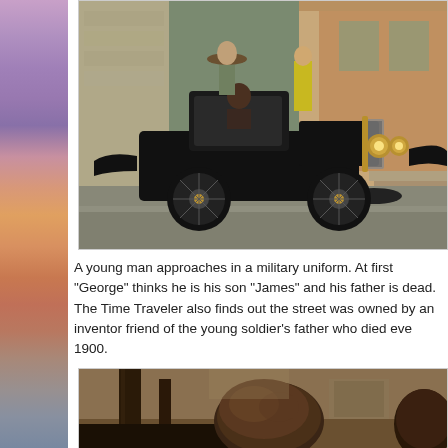[Figure (photo): A vintage black early-1900s automobile on a street scene with people in period costumes in the background, brick building visible]
A young man approaches in a military uniform. At first "George" thinks he is his son "James" and his father is dead. The Time Traveler also finds out the street was owned by an inventor friend of the young soldier's father who died eve 1900.
[Figure (photo): Interior scene showing the back of a person's head with brown hair, period furniture visible including a dark wooden post/column]